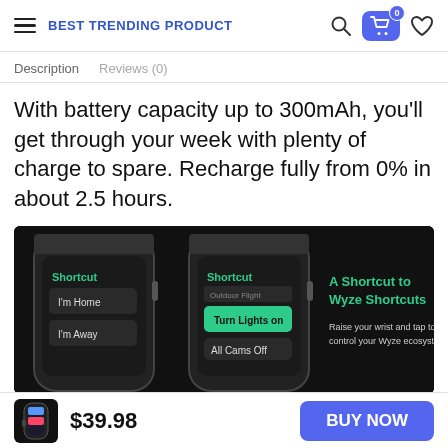BEST TRENDING PRODUCT
Description   Reviews (0)
With battery capacity up to 300mAh, you'll get through your week with plenty of charge to spare. Recharge fully from 0% in about 2.5 hours.
[Figure (photo): Product promotional image showing two smartwatches with dark screens displaying 'Shortcut' menu items including 'I'm Home', 'I'm Away', 'Turn Lights on', 'All Cams Off'. Text on right: 'A Shortcut to Wyze Shortcuts' in green, and 'Raise your wrist and tap to control your Wyze ecosystem' in white.]
$39.98
BUY NOW